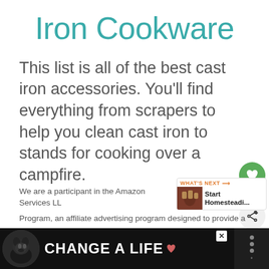Iron Cookware
This list is all of the best cast iron accessories. You'll find everything from scrapers to help you clean cast iron to stands for cooking over a campfire.
We are a participant in the Amazon Services LL Program, an affiliate advertising program designed to provide a
[Figure (infographic): WHAT'S NEXT arrow label with thumbnail image showing jars and text 'Start Homesteadi...']
[Figure (infographic): Advertisement banner: black background, dog photo, text 'CHANGE A LIFE' with heart icon, close button, and right-side icon]